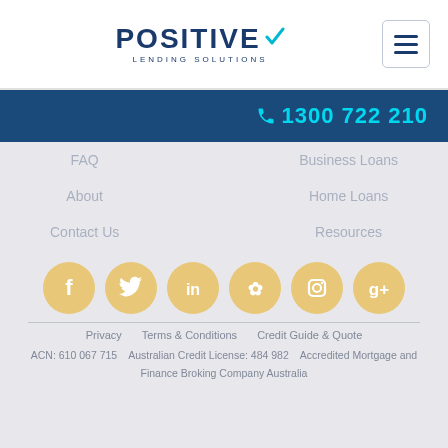[Figure (logo): Positive Lending Solutions logo with checkmark in teal/blue]
1300 722 210
FAQ
Business Loans
About
Home Loans
Contact Us
Resources
[Figure (illustration): Six golden/yellow circular social media icons: Facebook, Twitter, LinkedIn, Yelp, Instagram, Google+]
Privacy   Terms & Conditions   Credit Guide & Quote
ACN: 610 067 715   Australian Credit License: 484 982   Accredited Mortgage and Finance Broking Company Australia